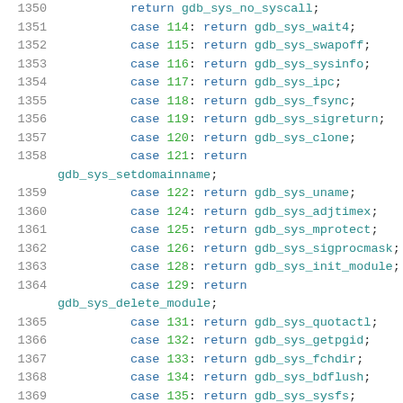1350   return gdb_sys_no_syscall;
1351   case 114: return gdb_sys_wait4;
1352   case 115: return gdb_sys_swapoff;
1353   case 116: return gdb_sys_sysinfo;
1354   case 117: return gdb_sys_ipc;
1355   case 118: return gdb_sys_fsync;
1356   case 119: return gdb_sys_sigreturn;
1357   case 120: return gdb_sys_clone;
1358   case 121: return gdb_sys_setdomainname;
1359   case 122: return gdb_sys_uname;
1360   case 124: return gdb_sys_adjtimex;
1361   case 125: return gdb_sys_mprotect;
1362   case 126: return gdb_sys_sigprocmask;
1363   case 128: return gdb_sys_init_module;
1364   case 129: return gdb_sys_delete_module;
1365   case 131: return gdb_sys_quotactl;
1366   case 132: return gdb_sys_getpgid;
1367   case 133: return gdb_sys_fchdir;
1368   case 134: return gdb_sys_bdflush;
1369   case 135: return gdb_sys_sysfs;
1370   case 136: return gdb_sys_personality;
1371   case 138: return gdb_sys_setfsuid16;